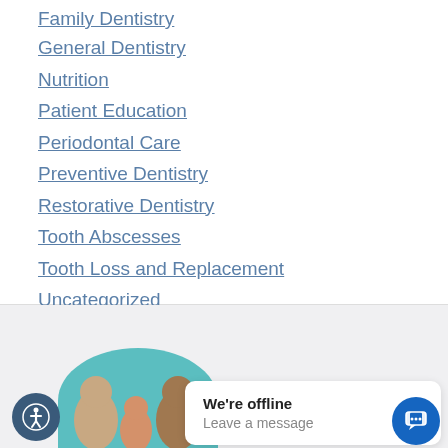Family Dentistry
General Dentistry
Nutrition
Patient Education
Periodontal Care
Preventive Dentistry
Restorative Dentistry
Tooth Abscesses
Tooth Loss and Replacement
Uncategorized
[Figure (screenshot): Bottom section with a family photo (teal circular background), an accessibility icon button, a chat widget showing 'We're offline / Leave a message', and a blue chat icon button.]